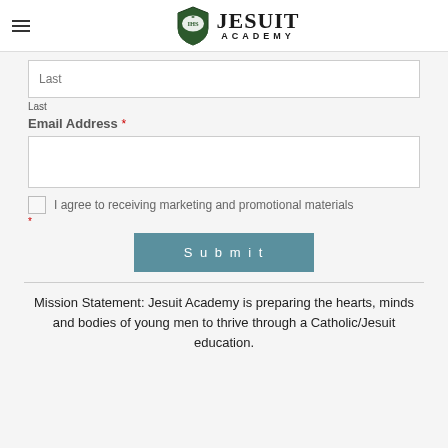Jesuit Academy
Last
Last
Email Address *
I agree to receiving marketing and promotional materials
Submit
Mission Statement: Jesuit Academy is preparing the hearts, minds and bodies of young men to thrive through a Catholic/Jesuit education.